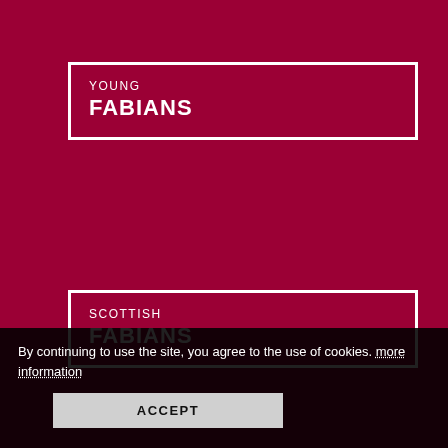YOUNG FABIANS
SCOTTISH FABIANS
WELSH FABIANS
LOCAL FABIANS
By continuing to use the site, you agree to the use of cookies. more information
ACCEPT